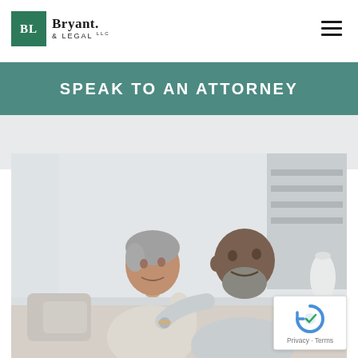[Figure (logo): Bryant Legal LLC logo with green BL square and serif text]
SPEAK TO AN ATTORNEY
[Figure (photo): An older couple, a woman with gray hair and a man with a gray beard, sitting together on a couch smiling, in a light interior setting]
[Figure (other): reCAPTCHA widget badge with Privacy and Terms links]